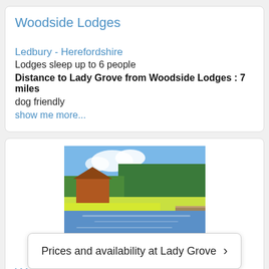Woodside Lodges
Ledbury - Herefordshire
Lodges sleep up to 6 people
Distance to Lady Grove from Woodside Lodges : 7 miles
dog friendly
show me more...
[Figure (photo): Scenic landscape photo of Woodside Lodges showing a wooden lodge building near a lake or pond with trees and blue sky reflected in the water]
Woodside Lodges
Ledbury
Lodges
Prices and availability at Lady Grove